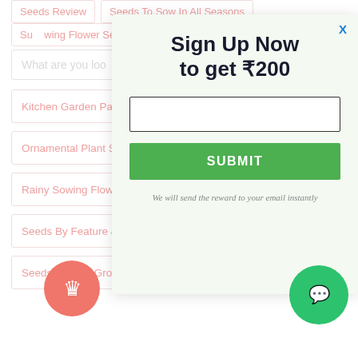[Figure (screenshot): Website navigation page with hamburger menu, search bar, and category links partially visible behind a modal popup]
Sign Up Now to get ₹200
We will send the reward to your email instantly